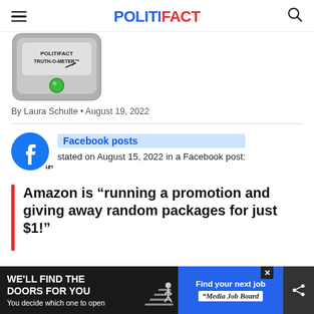POLITIFACT
[Figure (illustration): PolitiFact Truth-O-Meter device showing green light indicator, partially visible at top of page]
By Laura Schulte • August 19, 2022
Facebook posts stated on August 15, 2022 in a Facebook post:
Amazon is “unning a promotion and giving away random packages for just $1!”
[Figure (infographic): Advertisement banner: WE'LL FIND THE DOORS FOR YOU - You decide which one to open / Find your next job - Media Job Board]